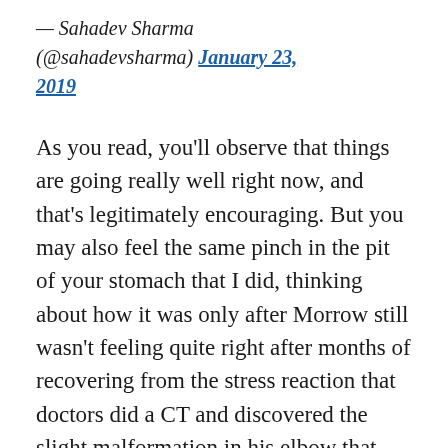— Sahadev Sharma (@sahadevsharma) January 23, 2019
As you read, you'll observe that things are going really well right now, and that's legitimately encouraging. But you may also feel the same pinch in the pit of your stomach that I did, thinking about how it was only after Morrow still wasn't feeling quite right after months of recovering from the stress reaction that doctors did a CT and discovered the slight malformation in his elbow that was causing the